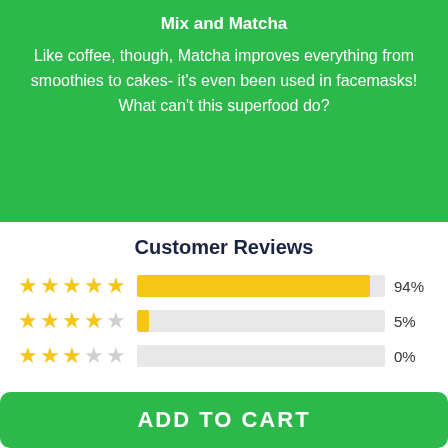Mix and Matcha
Like coffee, though, Matcha improves everything from smoothies to cakes- it's even been used in facemasks! What can't this superfood do?
Customer Reviews
[Figure (bar-chart): Customer Reviews]
ADD TO CART